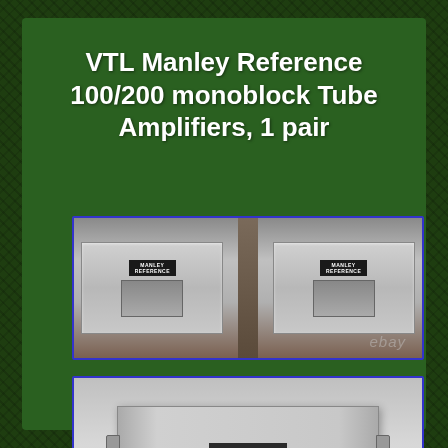VTL Manley Reference 100/200 monoblock Tube Amplifiers, 1 pair
[Figure (photo): Two silver Manley Reference monoblock tube amplifiers shown side by side from the front, with ebay watermark]
[Figure (photo): Single silver Manley Reference monoblock tube amplifier shown from the front/top angle with nameplate visible, with ebay watermark]